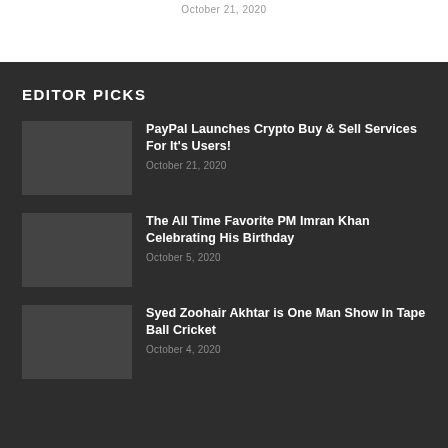October 21, 2020
EDITOR PICKS
PayPal Launches Crypto Buy & Sell Services For It's Users!
October 21, 2020
The All Time Favorite PM Imran Khan Celebrating His Birthday
October 5, 2020
Syed Zoohair Akhtar is One Man Show In Tape Ball Cricket
October 4, 2020